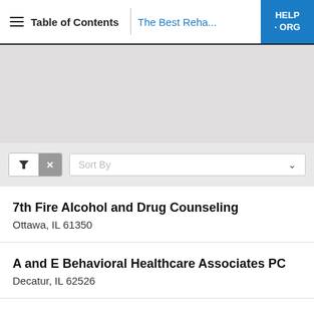Table of Contents | The Best Reha... | HELP · ORG
[Figure (map): Gray map area placeholder]
Sort By (filter/sort bar with funnel and X buttons)
7th Fire Alcohol and Drug Counseling
Ottawa, IL 61350
A and E Behavioral Healthcare Associates PC
Decatur, IL 62526
A New Way of Life Inc
Cary, IL 60013